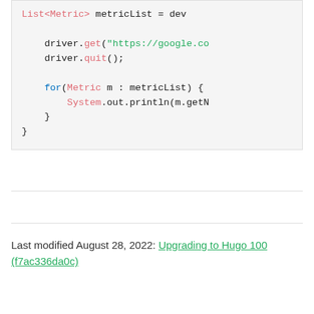List<Metric> metricList = dev

    driver.get("https://google.co
    driver.quit();

    for(Metric m : metricList) {
        System.out.println(m.getN
    }
}
Last modified August 28, 2022: Upgrading to Hugo 100 (f7ac336da0c)